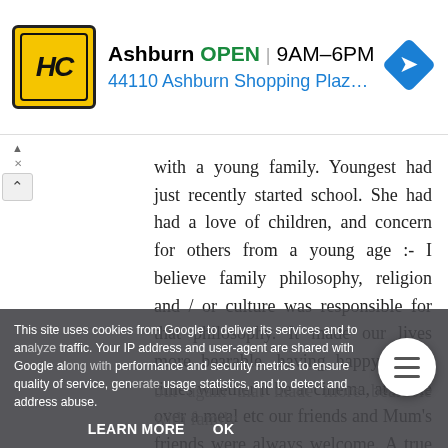[Figure (screenshot): Advertisement banner: HC logo (yellow/black), business name Ashburn, OPEN status in green, hours 9AM-6PM, address 44110 Ashburn Shopping Plaza 190, A..., navigation arrow icon in blue]
with a young family. Youngest had just recently started school. She had had a love of children, and concern for others from a young age :- I believe family philosophy, religion and / or culture was responsible for that philosophy. It made our lives more bearable, having happy social times whether it be at cinema, at home over a meal etc our friends and Mum's friends were always welcome. A true sense of Community. Would love that to be the way today, unfortunately too much change, closure of
This site uses cookies from Google to deliver its services and to analyze traffic. Your IP address and user-agent are shared with Google along with performance and security metrics to ensure quality of service, generate usage statistics, and to detect and address abuse.
LEARN MORE    OK